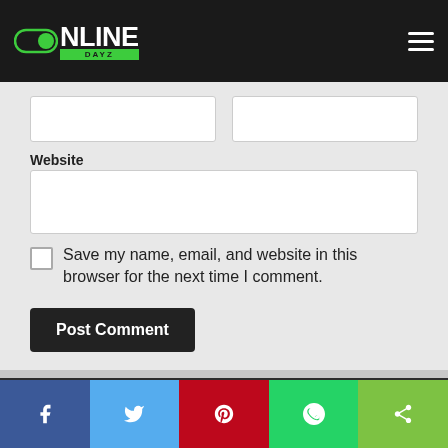[Figure (logo): OnlineDayz logo — toggle switch icon + ON LINE text + DAYZ green banner on dark nav bar]
Website
Save my name, email, and website in this browser for the next time I comment.
Post Comment
FOLLOW:
[Figure (infographic): Social media icons row: Facebook, Flipboard, LinkedIn, Instagram, Pinterest, Twitter]